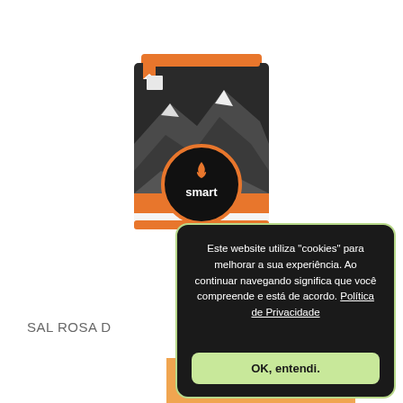[Figure (photo): A cylindrical container/can of 'smart' brand product with orange branding, black circle logo with flame icon, and mountain landscape imagery on black background.]
SAL ROSA D
Este website utiliza "cookies" para melhorar a sua experiência. Ao continuar navegando significa que você compreende e está de acordo. Política de Privacidade
OK, entendi.